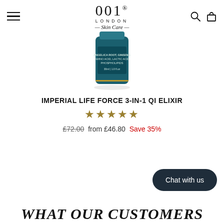001 LONDON — Skin Care (logo header with navigation icons)
[Figure (photo): A dark teal/navy glass bottle of 001 London Imperial Life Force 3-in-1 Qi Elixir, 30ml, partially visible, showing label with ingredients: Angelica Root, Ginseng, Amino Acid, Lactic Acid, Phospholipids]
IMPERIAL LIFE FORCE 3-IN-1 QI ELIXIR
★★★★★ (5 stars)
£72.00 from £46.80 Save 35%
Chat with us
WHAT OUR CUSTOMERS